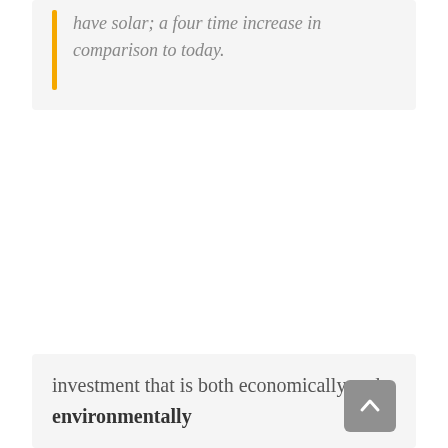have solar; a four time increase in comparison to today.
investment that is both economically and environmentally